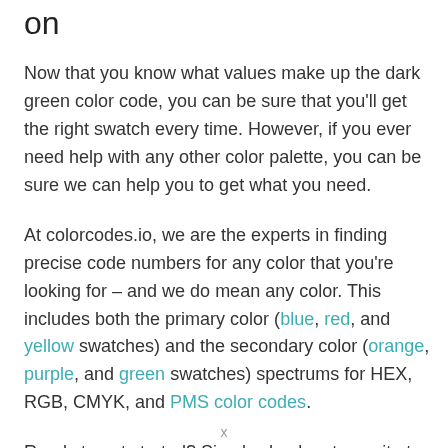on
Now that you know what values make up the dark green color code, you can be sure that you'll get the right swatch every time. However, if you ever need help with any other color palette, you can be sure we can help you to get what you need.
At colorcodes.io, we are the experts in finding precise code numbers for any color that you're looking for – and we do mean any color. This includes both the primary color (blue, red, and yellow swatches) and the secondary color (orange, purple, and green swatches) spectrums for HEX, RGB, CMYK, and PMS color codes.
Ready to get started? Simply check out our site to begin
x